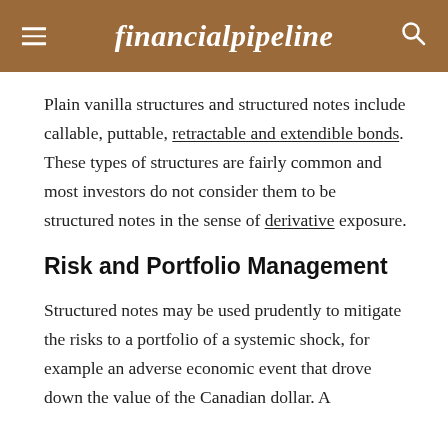financialpipeline
Plain vanilla structures and structured notes include callable, puttable, retractable and extendible bonds. These types of structures are fairly common and most investors do not consider them to be structured notes in the sense of derivative exposure.
Risk and Portfolio Management
Structured notes may be used prudently to mitigate the risks to a portfolio of a systemic shock, for example an adverse economic event that drove down the value of the Canadian dollar. A